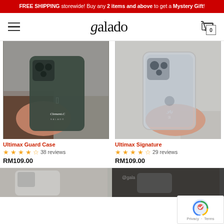FREE SHIPPING storewide! Buy any 2 items and above to get a Mystery Gift!
[Figure (logo): Galado brand logo with stylized g and hamburger menu icon and cart icon showing 0 items]
[Figure (photo): Hand holding a dark green iPhone 11 Pro with Ultimax Guard Case with 'Clement.C' text printed on it]
[Figure (photo): Hand holding an iPhone 11 Pro with clear Ultimax Signature case with handwritten signature]
Ultimax Guard Case
★★★★☆ 38 reviews
RM109.00
Ultimax Signature
★★★★☆ 29 reviews
RM109.00
[Figure (photo): Partial product image bottom left, phone case]
[Figure (photo): Partial product image bottom right, phone case dark]